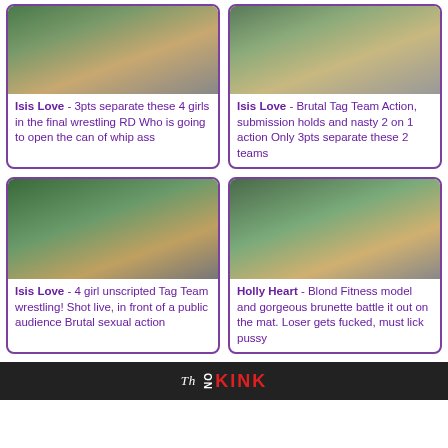[Figure (photo): Wrestling match photo top left]
Isis Love - 3pts separate these 4 girls in the final wrestling RD Who is going to open the can of whip ass
[Figure (photo): Wrestling match photo top right]
Isis Love - Brutal Tag Team Action, submission holds and nasty 2 on 1 action Only 3pts separate these 2 teams
[Figure (photo): Wrestling match photo bottom left]
Isis Love - 4 girl unscripted Tag Team wrestling! Shot live, in front of a public audience Brutal sexual action
[Figure (photo): Wrestling match photo bottom right]
Holly Heart - Blond Fitness model and gorgeous brunette battle it out on the mat. Loser gets fucked, must lick pussy
[Figure (logo): KINK banner advertisement at bottom]